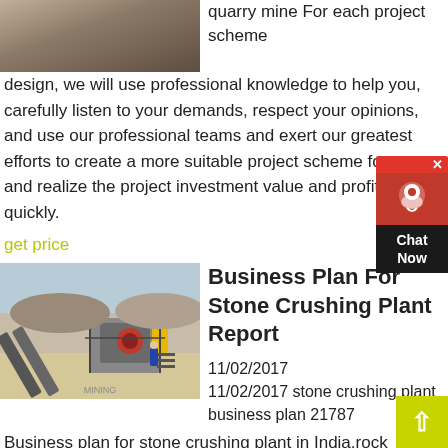[Figure (photo): Quarry/mine rock formation photo at top left]
quarry mine For each project scheme design, we will use professional knowledge to help you, carefully listen to your demands, respect your opinions, and use our professional teams and exert our greatest efforts to create a more suitable project scheme for you and realize the project investment value and profit more quickly.
get price
[Figure (photo): Industrial stone crushing plant with conveyor belts and machinery]
Business Plan For Stone Crushing Plant Report
11/02/2017 11/02/2017 stone crushing plant business plan 21787 Business plan for stone crushing plant in India,rock crusher,- stone crushing plant business plan 21787,Business Plan for Stone Crushing Plant in India TY has pioneered the development of the mining All rights reserved.
[Figure (other): Chat Now customer support widget]
[Figure (other): Scroll to top button]